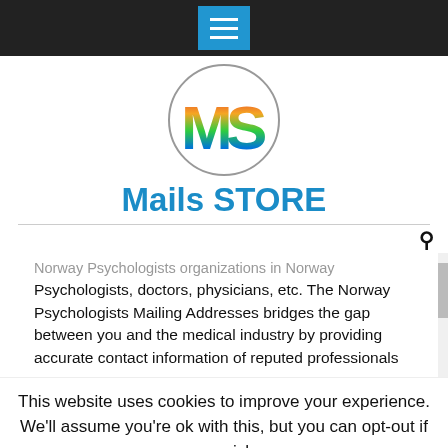[Figure (logo): Blue hamburger menu button on dark navigation bar]
[Figure (logo): MS logo in a circle with multicolor rainbow letters M and S]
Mails STORE
Norway Psychologists organizations in Norway Psychologists, doctors, physicians, etc. The Norway Psychologists Mailing Addresses bridges the gap between you and the medical industry by providing accurate contact information of reputed professionals
This website uses cookies to improve your experience. We'll assume you're ok with this, but you can opt-out if you wish.
Accept   Reject   Read More